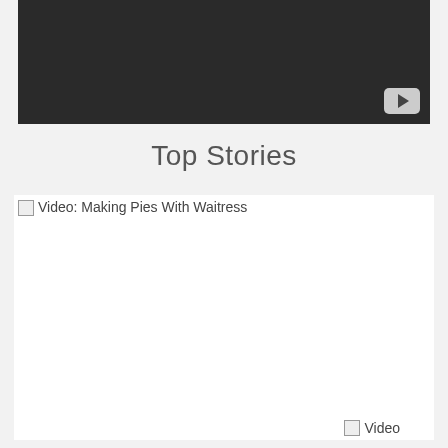[Figure (screenshot): Dark video player area with a YouTube-style play button icon in the bottom-right corner]
Top Stories
[Figure (screenshot): Story card with broken image icon and text 'Video: Making Pies With Waitress', followed by a large white image area and a small broken 'Video' image at bottom right]